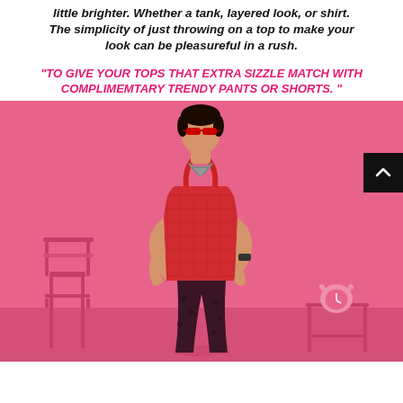little brighter. Whether a tank, layered look, or shirt. The simplicity of just throwing on a top to make your look can be pleasureful in a rush.
"TO GIVE YOUR TOPS THAT EXTRA SIZZLE MATCH WITH COMPLIMEMTARY TRENDY PANTS OR SHORTS."
[Figure (photo): A male model wearing a red mesh tank top, red sunglasses, dark patterned pants, and a bandana necklace, posing against a bright pink background with a pink folding chair on the left and a pink side table with a pink alarm clock on the right.]